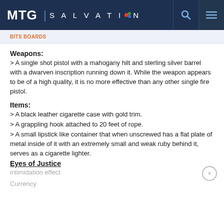MTG SALVATION
Weapons:
> A single shot pistol with a mahogany hilt and sterling silver barrel with a dwarven inscription running down it. While the weapon appears to be of a high quality, it is no more effective than any other single fire pistol.
Items:
> A black leather cigarette case with gold trim.
> A grappling hook attached to 20 feet of rope.
> A small lipstick like container that when unscrewed has a flat plate of metal inside of it with an extremely small and weak ruby behind it, serves as a cigarette lighter.
Eyes of Justice
intimidation effect
Currency